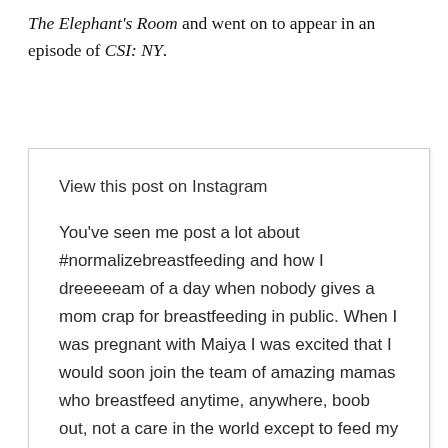The Elephant's Room and went on to appear in an episode of CSI: NY.
View this post on Instagram

You've seen me post a lot about #normalizebreastfeeding and how I dreeeeeam of a day when nobody gives a mom crap for breastfeeding in public. When I was pregnant with Maiya I was excited that I would soon join the team of amazing mamas who breastfeed anytime, anywhere, boob out, not a care in the world except to feed my baby. But after Maiya was born and I started bringing her with me everywhere I was very surprised to notice that I, sometimes, felt better with a little bit of privacy. There were